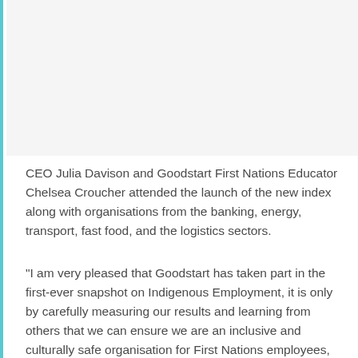[Figure (photo): Photo area (image of CEO Julia Davison and Chelsea Croucher at the launch event)]
CEO Julia Davison and Goodstart First Nations Educator Chelsea Croucher attended the launch of the new index along with organisations from the banking, energy, transport, fast food, and the logistics sectors.
“I am very pleased that Goodstart has taken part in the first-ever snapshot on Indigenous Employment, it is only by carefully measuring our results and learning from others that we can ensure we are an inclusive and culturally safe organisation for First Nations employees, and the children